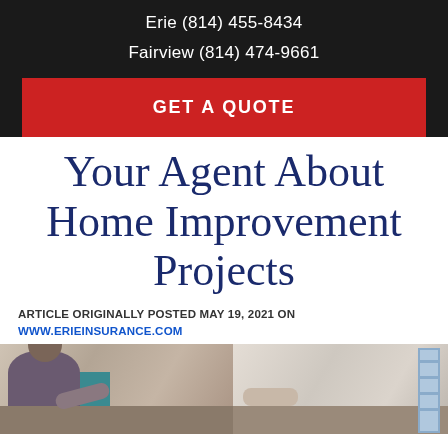Erie (814) 455-8434
Fairview (814) 474-9661
GET A QUOTE
Your Agent About Home Improvement Projects
ARTICLE ORIGINALLY POSTED MAY 19, 2021 ON WWW.ERIEINSURANCE.COM
[Figure (photo): Photo of a person working on a home improvement project at a desk, with a ladder visible in the background on the right side.]